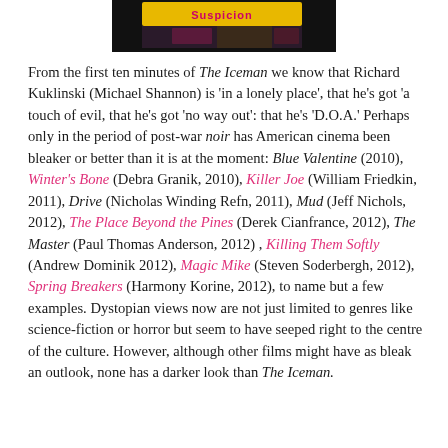[Figure (photo): Cropped image showing top portion of a movie cover or poster with the word 'Suspicion' visible, yellow and dark colors]
From the first ten minutes of The Iceman we know that Richard Kuklinski (Michael Shannon) is 'in a lonely place', that he's got 'a touch of evil, that he's got 'no way out': that he's 'D.O.A.' Perhaps only in the period of post-war noir has American cinema been bleaker or better than it is at the moment: Blue Valentine (2010), Winter's Bone (Debra Granik, 2010), Killer Joe (William Friedkin, 2011), Drive (Nicholas Winding Refn, 2011), Mud (Jeff Nichols, 2012), The Place Beyond the Pines (Derek Cianfrance, 2012), The Master (Paul Thomas Anderson, 2012) , Killing Them Softly (Andrew Dominik 2012), Magic Mike (Steven Soderbergh, 2012), Spring Breakers (Harmony Korine, 2012), to name but a few examples. Dystopian views now are not just limited to genres like science-fiction or horror but seem to have seeped right to the centre of the culture. However, although other films might have as bleak an outlook, none has a darker look than The Iceman.